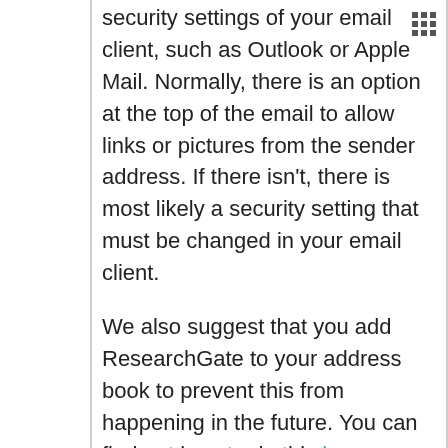security settings of your email client, such as Outlook or Apple Mail. Normally, there is an option at the top of the email to allow links or pictures from the sender address. If there isn't, there is most likely a security setting that must be changed in your email client.
We also suggest that you add ResearchGate to your address book to prevent this from happening in the future. You can find out how to do this here.
As a workaround, you can also forward the activation email to any other email account you own which is not experiencing this issue, and click on the link there.